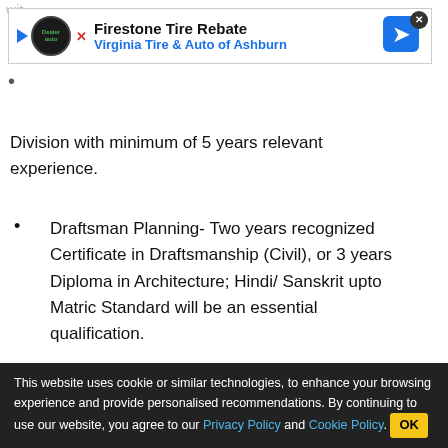[Figure (screenshot): Firestone Tire Rebate advertisement banner for Virginia Tire & Auto of Ashburn with play button, logo, close button, and directional arrow icon]
Division with minimum of 5 years relevant experience.
Draftsman Planning- Two years recognized Certificate in Draftsmanship (Civil), or 3 years Diploma in Architecture; Hindi/ Sanskrit upto Matric Standard will be an essential qualification.
Legal Assistant - Graduate (2nd Division), LL.B Professional (2nd Division) and having at least 2 years experience.
Download Official Notification PDF
[Figure (screenshot): LT Rush Stone & Fireplace - Fireplace Services advertisement with OPEN button]
This website uses cookie or similar technologies, to enhance your browsing experience and provide personalised recommendations. By continuing to use our website, you agree to our Privacy Policy and Cookie Policy. OK